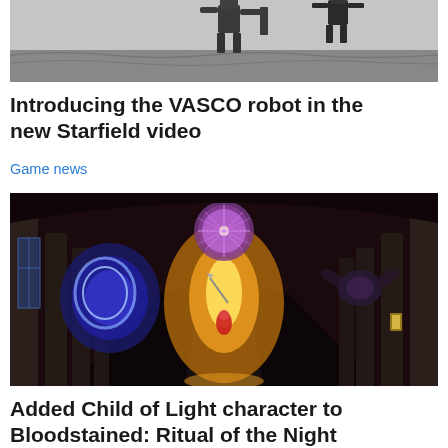[Figure (photo): Top portion of a robot (VASCO from Starfield) against a grey sky background, partially cropped at top]
Introducing the VASCO robot in the new Starfield video
Game news
[Figure (photo): Screenshot from Bloodstained: Ritual of the Night showing a gothic cathedral interior with colorful stained glass window, a glowing battle scene featuring the Aurora character with blue-glowing dark creature on left, flying enemies, and golden light in the center]
Added Child of Light character to Bloodstained: Ritual of the Night
Arcade game, Game, Game news, Online game, Video